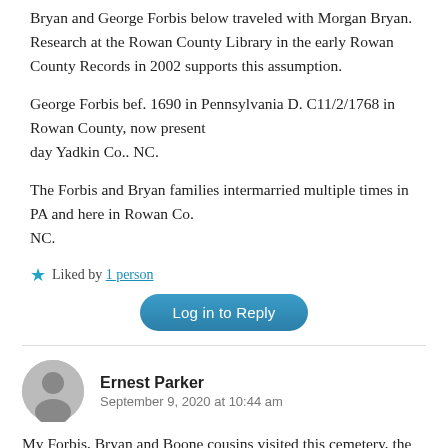Bryan and George Forbis below traveled with Morgan Bryan. Research at the Rowan County Library in the early Rowan County Records in 2002 supports this assumption.
George Forbis bef. 1690 in Pennsylvania D. C11/2/1768 in Rowan County, now present day Yadkin Co.. NC.
The Forbis and Bryan families intermarried multiple times in PA and here in Rowan Co.
NC.
Liked by 1 person
Log in to Reply
Ernest Parker
September 9, 2020 at 10:44 am
My Forbis, Bryan and Boone cousins visited this cemetery, the earliest recorded burials in present day Yadkin Co. It sits on Bryan Mill Creek, now called